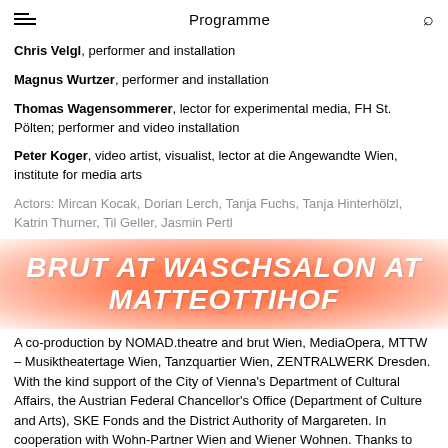Programme
Chris Velgl, performer and installation
Magnus Wurtzer, performer and installation
Thomas Wagensommerer, lector for experimental media, FH St. Pölten; performer and video installation
Peter Koger, video artist, visualist, lector at die Angewandte Wien, institute for media arts
[Figure (other): Red/orange radial glow overlay banner reading BRUT AT WASCHSALON AT MATTEOTTIHOF in large bold white italic uppercase text]
Actors: Mircan Kocak, Dorian Lerch, Tanja Fuchs, Tanja Hinterhölzl, Katrin Thurner, Til Geller, Jasmin Pertl
A co-production by NOMAD.theatre and brut Wien, MediaOpera, MTTW – Musiktheatertage Wien, Tanzquartier Wien, ZENTRALWERK Dresden. With the kind support of the City of Vienna's Department of Cultural Affairs, the Austrian Federal Chancellor's Office (Department of Culture and Arts), SKE Fonds and the District Authority of Margareten. In cooperation with Wohn-Partner Wien and Wiener Wohnen. Thanks to Wohn-Partner Wien and Wiener Wohnen.